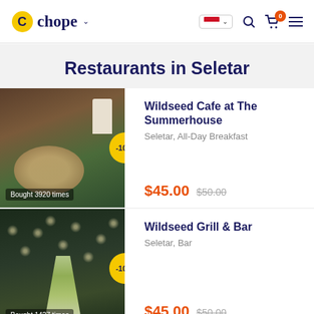Chope
Restaurants in Seletar
[Figure (photo): Photo of cafe food on a wooden table with a white jug and drink bottle]
Wildseed Cafe at The Summerhouse
Seletar, All-Day Breakfast
$45.00  $50.00
Bought 3920 times
[Figure (photo): Photo of a martini glass with cocktail and string lights in background]
Wildseed Grill & Bar
Seletar, Bar
$45.00  $50.00
Bought 1427 times